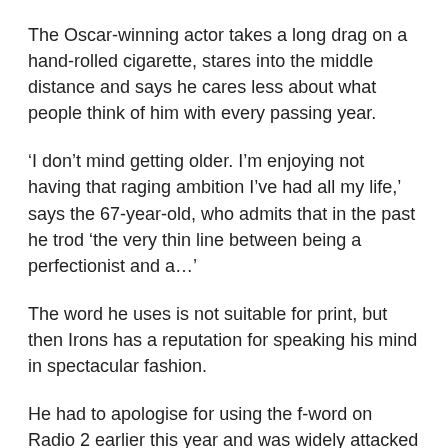The Oscar-winning actor takes a long drag on a hand-rolled cigarette, stares into the middle distance and says he cares less about what people think of him with every passing year.
‘I don’t mind getting older. I’m enjoying not having that raging ambition I’ve had all my life,’ says the 67-year-old, who admits that in the past he trod ‘the very thin line between being a perfectionist and a…’
The word he uses is not suitable for print, but then Irons has a reputation for speaking his mind in spectacular fashion.
He had to apologise for using the f-word on Radio 2 earlier this year and was widely attacked a few years ago for suggesting same-sex marriage could lead to men